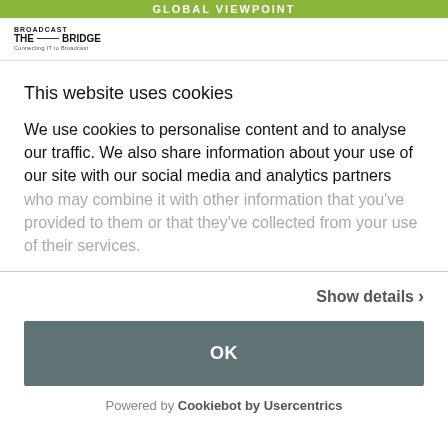GLOBAL VIEWPOINT
[Figure (logo): Broadcast The Bridge logo - Connecting IT to Broadcast]
This website uses cookies
We use cookies to personalise content and to analyse our traffic. We also share information about your use of our site with our social media and analytics partners who may combine it with other information that you've provided to them or that they've collected from your use of their services.
Show details ›
OK
Powered by Cookiebot by Usercentrics